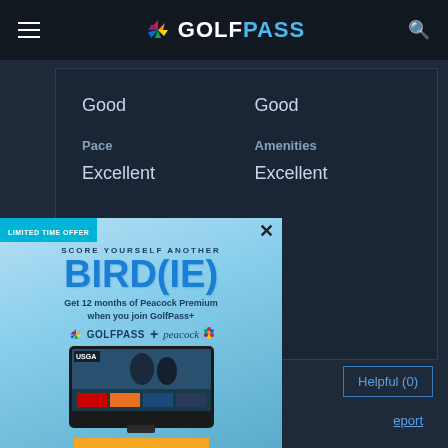GOLFPASS
| Category | Category2 |
| --- | --- |
| Good | Good |
| Pace | Amenities |
| Excellent | Excellent |
[Figure (screenshot): GolfPass promotional ad overlay with bird(ie) promotional offer for 12 months of Peacock Premium when joining GolfPass+, with a TV showing USGA content, JOIN NOW button in orange]
Helpful (0)
eport